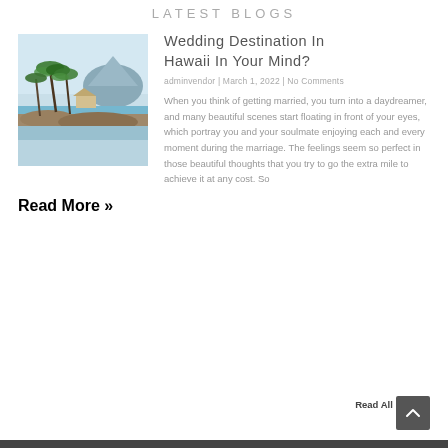LATEST BLOGS
[Figure (photo): Tropical beach scene with palm trees, rocky coastline, and a mountain in the background under a clear sky]
Wedding Destination In Hawaii In Your Mind?
adminvendor | March 1, 2022 | No Comments
When you think of getting married, you turn into a daydreamer, and many beautiful scenes start floating in front of your eyes, which portray you and your soulmate enjoying each and every moment during the marriage. The feelings seem so perfect in those beautiful thoughts that you try to go the extra mile to achieve it at any cost. So
Read More »
Read All Blogs >